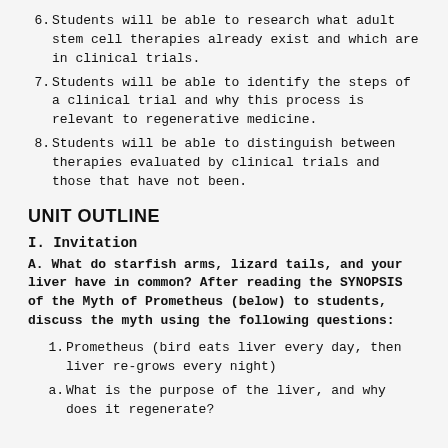6. Students will be able to research what adult stem cell therapies already exist and which are in clinical trials.
7. Students will be able to identify the steps of a clinical trial and why this process is relevant to regenerative medicine.
8. Students will be able to distinguish between therapies evaluated by clinical trials and those that have not been.
UNIT OUTLINE
I. Invitation
A. What do starfish arms, lizard tails, and your liver have in common? After reading the SYNOPSIS of the Myth of Prometheus (below) to students, discuss the myth using the following questions:
1. Prometheus (bird eats liver every day, then liver re-grows every night)
a. What is the purpose of the liver, and why does it regenerate?